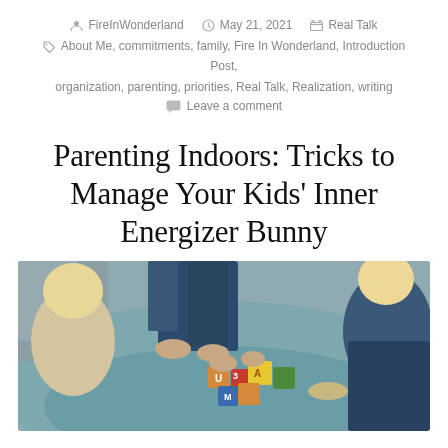FireInWonderland   May 21, 2021   Real Talk
About Me, commitments, family, Fire In Wonderland, Introduction Post, organization, parenting, priorities, Real Talk, Realization, writing
Leave a comment
Parenting Indoors: Tricks to Manage Your Kids' Inner Energizer Bunny
[Figure (photo): Overhead view of two young children with blonde hair sitting on a teal/grey blanket playing with wooden alphabet blocks, with an adult's hands visible helping with the blocks. Children are wearing jeans.]